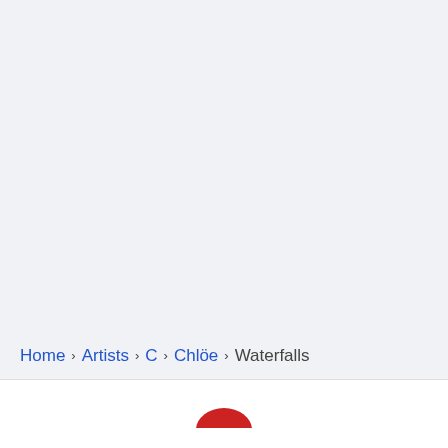Home › Artists › C › Chlöe › Waterfalls